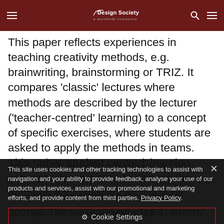The Design Society — a worldwide community
This paper reflects experiences in teaching creativity methods, e.g. brainwriting, brainstorming or TRIZ. It compares 'classic' lectures where methods are described by the lecturer ('teacher-centred' learning) to a concept of specific exercises, where students are asked to apply the methods in teams. This rather 'student centred' learning concept allocates time to discuss the methods and experiences made by
This site uses cookies and other tracking technologies to assist with navigation and your ability to provide feedback, analyse your use of our products and services, assist with our promotional and marketing efforts, and provide content from third parties. Privacy Policy.
ways and discussion portions in the e-learning platform. In order to evaluate the students' perception of the learning concepts a questionnaire-based survey was conducted together 150
course. The survey evaluates 1. which learning